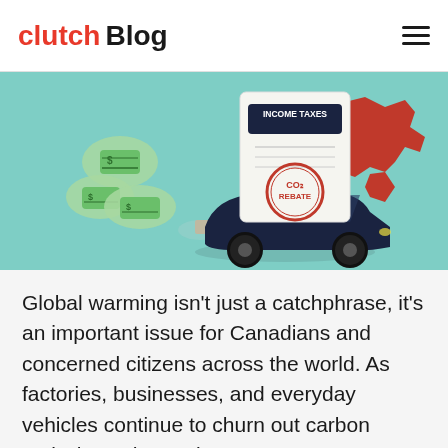clutch Blog
[Figure (illustration): Illustration of a black car emitting green money/CO2 clouds from its exhaust, with an Income Taxes document stamped with a CO2 Rebate seal, and a red map of Canada in the background, all on a teal/mint background.]
Global warming isn't just a catchphrase, it's an important issue for Canadians and concerned citizens across the world. As factories, businesses, and everyday vehicles continue to churn out carbon emissions, the environment